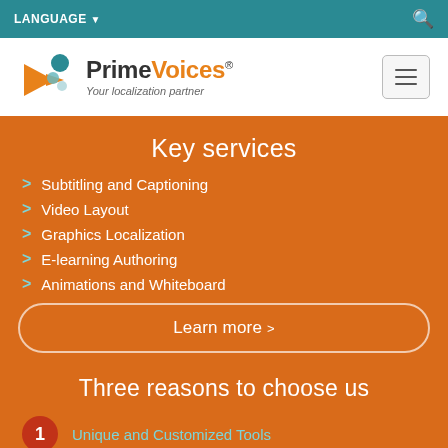LANGUAGE ▼  [search icon]
[Figure (logo): PrimeVoices logo with orange arrow and teal circles, tagline: Your localization partner]
Key services
Subtitling and Captioning
Video Layout
Graphics Localization
E-learning Authoring
Animations and Whiteboard
Learn more >
Three reasons to choose us
1 Unique and Customized Tools